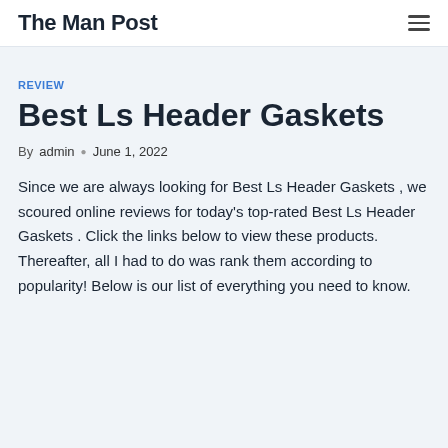The Man Post
REVIEW
Best Ls Header Gaskets
By admin • June 1, 2022
Since we are always looking for Best Ls Header Gaskets , we scoured online reviews for today's top-rated Best Ls Header Gaskets . Click the links below to view these products. Thereafter, all I had to do was rank them according to popularity! Below is our list of everything you need to know. Recommended best products based them...